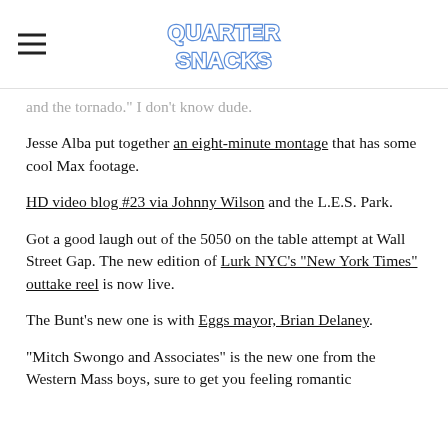Quarter Snacks
and the tornado." I don't know dude.
Jesse Alba put together an eight-minute montage that has some cool Max footage.
HD video blog #23 via Johnny Wilson and the L.E.S. Park.
Got a good laugh out of the 5050 on the table attempt at Wall Street Gap. The new edition of Lurk NYC's “New York Times” outtake reel is now live.
The Bunt’s new one is with Eggs mayor, Brian Delaney.
“Mitch Swongo and Associates” is the new one from the Western Mass boys, sure to get you feeling romantic